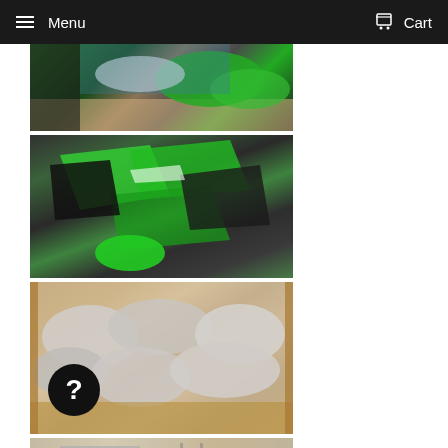Menu  Cart
[Figure (photo): Motorcycle fairings in green and black with graphic kit parts laid in an open cardboard box]
[Figure (photo): Green and black motorcycle body fairings spread out on a surface, showing multiple panels]
[Figure (photo): Motorcycle fairings wrapped in white/grey protective cloth inside an open brown cardboard box, with a black circle question mark overlay in lower left]
[Figure (photo): Partial view of a cardboard box with chrome/metallic parts visible]